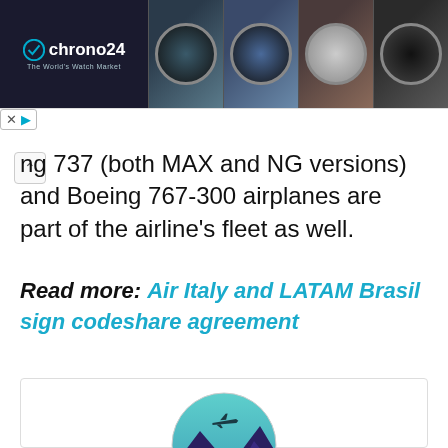[Figure (screenshot): Chrono24 advertisement banner showing logo on dark background and four watch images]
ng 737 (both MAX and NG versions) and Boeing 767-300 airplanes are part of the airline’s fleet as well.
Read more: Air Italy and LATAM Brasil sign codeshare agreement
[Figure (illustration): Circular avatar logo with teal/blue gradient background, mountain shapes in dark purple/navy at bottom, small airplane silhouette near top]
Nick Wenzel
Nick Wenzel founded International Flight Network in 2016. He is the Social Media Manager and an